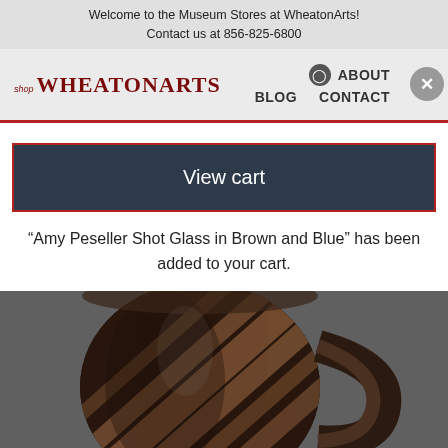Welcome to the Museum Stores at WheatonArts!
Contact us at 856-825-6800
[Figure (screenshot): WheatonArts shop navigation bar with logo, ABOUT, BLOG, CONTACT links and a close (X) button]
[Figure (screenshot): View cart button (dark navy background with white text)]
“Amy Peseller Shot Glass in Brown and Blue” has been added to your cart.
[Figure (photo): Close-up photograph of a dark brown/black ceramic mug or shot glass with diagonal stripe pattern in brown/tan tones, shown on a gray background]